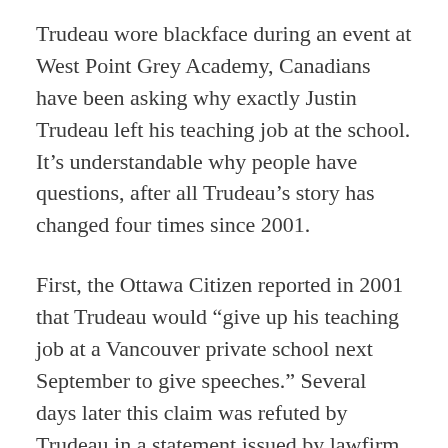Trudeau wore blackface during an event at West Point Grey Academy, Canadians have been asking why exactly Justin Trudeau left his teaching job at the school. It’s understandable why people have questions, after all Trudeau’s story has changed four times since 2001.
First, the Ottawa Citizen reported in 2001 that Trudeau would “give up his teaching job at a Vancouver private school next September to give speeches.” Several days later this claim was refuted by Trudeau in a statement issued by lawfirm Heenan Blaikie. The Montreal Gazette reported Trudeau was accepting a teaching job at a public school.
In his 2014 autobiography, Trudeau says he